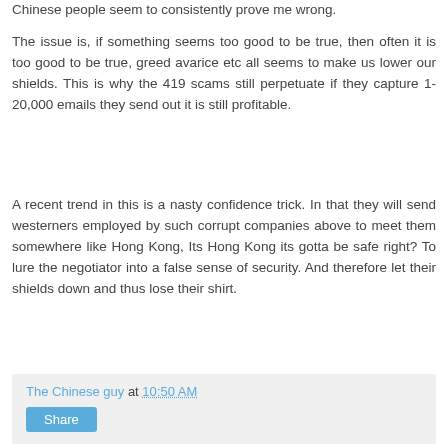Chinese people seem to consistently prove me wrong.
The issue is, if something seems too good to be true, then often it is too good to be true, greed avarice etc all seems to make us lower our shields. This is why the 419 scams still perpetuate if they capture 1-20,000 emails they send out it is still profitable.
A recent trend in this is a nasty confidence trick. In that they will send westerners employed by such corrupt companies above to meet them somewhere like Hong Kong, Its Hong Kong its gotta be safe right? To lure the negotiator into a false sense of security. And therefore let their shields down and thus lose their shirt.
The Chinese guy at 10:50 AM
Share